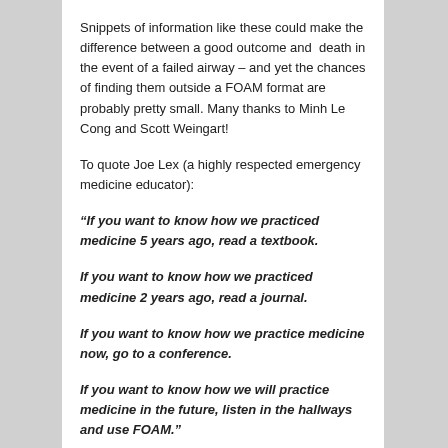Snippets of information like these could make the difference between a good outcome and  death in the event of a failed airway – and yet the chances of finding them outside a FOAM format are probably pretty small. Many thanks to Minh Le Cong and Scott Weingart!
To quote Joe Lex (a highly respected emergency medicine educator):
“If you want to know how we practiced medicine 5 years ago, read a textbook.

If you want to know how we practiced medicine 2 years ago, read a journal.

If you want to know how we practice medicine now, go to a conference.

If you want to know how we will practice medicine in the future, listen in the hallways and use FOAM.”